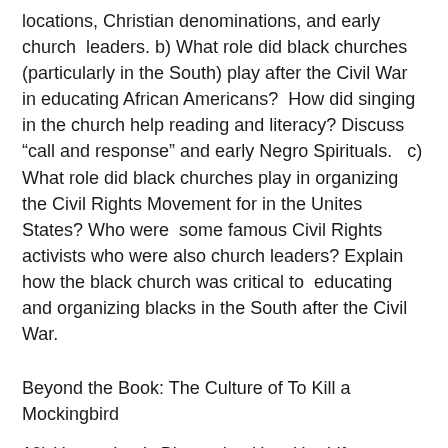locations, Christian denominations, and early church leaders. b) What role did black churches (particularly in the South) play after the Civil War in educating African Americans? How did singing in the church help reading and literacy? Discuss “call and response” and early Negro Spirituals. c) What role did black churches play in organizing the Civil Rights Movement for in the Unites States? Who were some famous Civil Rights activists who were also church leaders? Explain how the black church was critical to educating and organizing blacks in the South after the Civil War.
Beyond the Book: The Culture of To Kill a Mockingbird
19) Harper Lee’s Biography: How Her Life Connects to Story She Wrote
a) Provide a clear biographical profile of Harper Lee both as a person and as a writer. What are some myths about